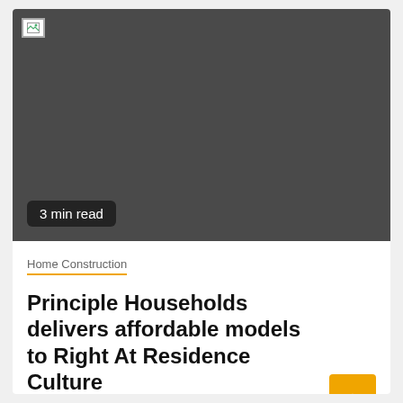[Figure (photo): Dark gray placeholder image area with broken image icon in top-left corner]
3 min read
Home Construction
Principle Households delivers affordable models to Right At Residence Culture
2 years ago  Aaron M. Davis